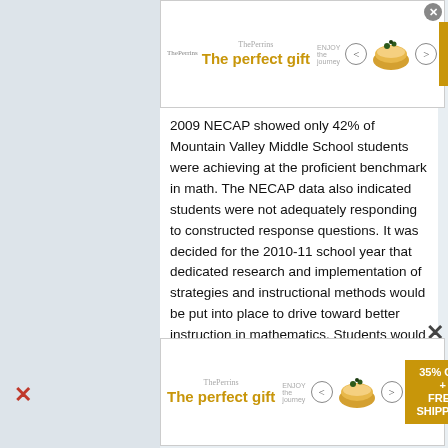[Figure (other): Advertisement banner for 'The perfect gift' showing a bowl of food with navigation arrows and 35% OFF + FREE SHIPPING badge]
2009 NECAP showed only 42% of Mountain Valley Middle School students were achieving at the proficient benchmark in math. The NECAP data also indicated students were not adequately responding to constructed response questions. It was decided for the 2010-11 school year that dedicated research and implementation of strategies and instructional methods would be put into place to drive toward better instruction in mathematics. Students would also be taught tools to better navigate short answer and constructed response questions. The RTI initiative was viewed as a good place to start making pedagogical changes to the school environment to make the necessary changes that would allow students to be more successful in their learning
[Figure (other): Second advertisement banner for 'The perfect gift' showing a bowl of food with navigation arrows and 35% OFF + FREE SHIPPING badge]